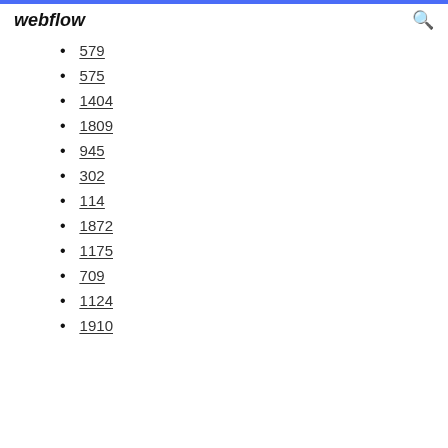webflow
579
575
1404
1809
945
302
114
1872
1175
709
1124
1910